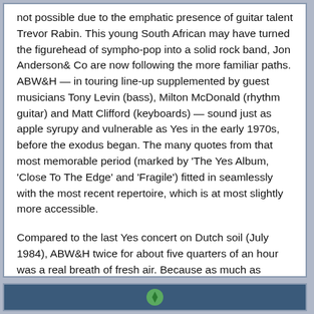not possible due to the emphatic presence of guitar talent Trevor Rabin. This young South African may have turned the figurehead of sympho-pop into a solid rock band, Jon Anderson& Co are now following the more familiar paths. ABW&H — in touring line-up supplemented by guest musicians Tony Levin (bass), Milton McDonald (rhythm guitar) and Matt Clifford (keyboards) — sound just as apple syrupy and vulnerable as Yes in the early 1970s, before the exodus began. The many quotes from that most memorable period (marked by 'The Yes Album, 'Close To The Edge' and 'Fragile') fitted in seamlessly with the most recent repertoire, which is at most slightly more accessible.
Compared to the last Yes concert on Dutch soil (July 1984), ABW&H twice for about five quarters of an hour was a real breath of fresh air. Because as much as possible, all instrumental powerhouses and other effects were avoided. Not the show element, but the music — often presented modestly and excellently amplified — was central. The spontaneity went so far that there was even room to submit requests (of course 'Heart Of The Sunrise'). Added to this the relatively simple way of touring (not by personal limousines, but by bus) one should perhaps give ABW&H the benefit of the doubt: contrary to what is often suspected, this renewed collaboration is not directly based on financial motives.